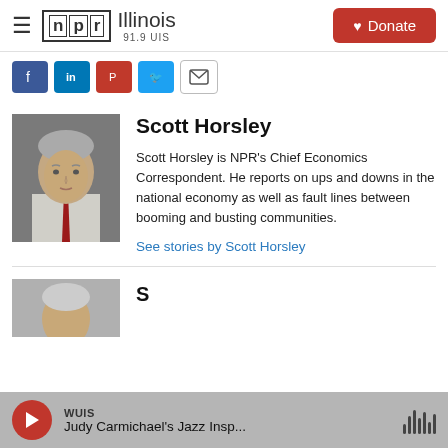NPR Illinois 91.9 UIS — Donate
[Figure (screenshot): Social media sharing icons: Facebook, LinkedIn, Pinterest, Twitter, Email]
[Figure (photo): Headshot of Scott Horsley, man in suit with red tie, gray hair]
Scott Horsley
Scott Horsley is NPR's Chief Economics Correspondent. He reports on ups and downs in the national economy as well as fault lines between booming and busting communities.
See stories by Scott Horsley
[Figure (photo): Partial headshot of a second author, cropped at bottom]
WUIS — Judy Carmichael's Jazz Insp...